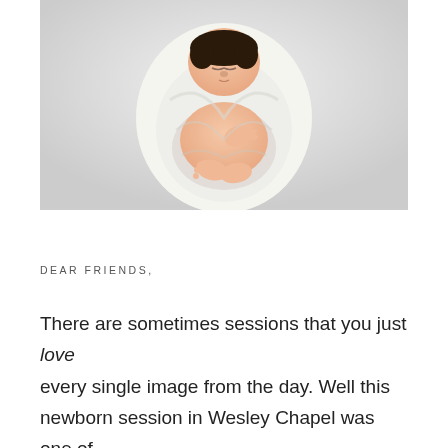[Figure (photo): Newborn baby wrapped in a white swaddle cloth, photographed from above against a light gray background. The baby is sleeping with dark hair visible, hands and feet peeking out from the wrap.]
DEAR FRIENDS,
There are sometimes sessions that you just love every single image from the day. Well this newborn session in Wesley Chapel was one of